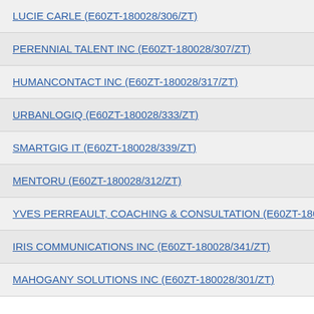LUCIE CARLE (E60ZT-180028/306/ZT)
PERENNIAL TALENT INC (E60ZT-180028/307/ZT)
HUMANCONTACT INC (E60ZT-180028/317/ZT)
URBANLOGIQ (E60ZT-180028/333/ZT)
SMARTGIG IT (E60ZT-180028/339/ZT)
MENTORU (E60ZT-180028/312/ZT)
YVES PERREAULT, COACHING & CONSULTATION (E60ZT-1800...
IRIS COMMUNICATIONS INC (E60ZT-180028/341/ZT)
MAHOGANY SOLUTIONS INC (E60ZT-180028/301/ZT)